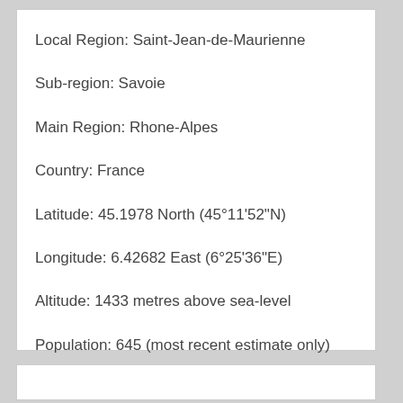Local Region: Saint-Jean-de-Maurienne
Sub-region: Savoie
Main Region: Rhone-Alpes
Country: France
Latitude: 45.1978 North (45°11'52"N)
Longitude: 6.42682 East (6°25'36"E)
Altitude: 1433 metres above sea-level
Population: 645 (most recent estimate only)